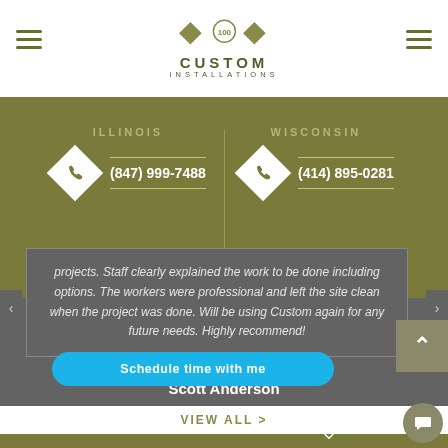[Figure (logo): Custom Installations logo with decorative diamond shapes above text]
ILLINOIS
(847) 999-7488
WISCONSIN
(414) 895-0281
projects. Staff clearly explained the work to be done including options. The workers were professional and left the site clean when the project was done. Will be using Custom again for any future needs. Highly recommend!
Scott Anderson
Schedule time with me
VIEW ALL >
GET A FREE ESTIMATE